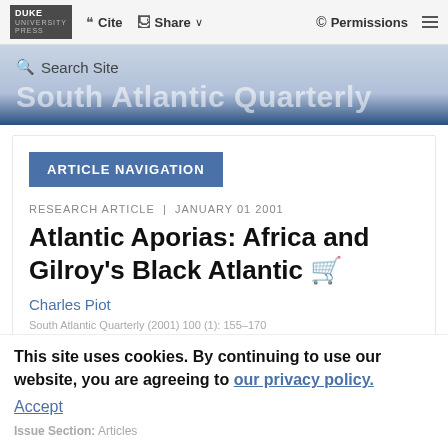Cite  Share  Permissions
South Atlantic Quarterly
ARTICLE NAVIGATION
RESEARCH ARTICLE | JANUARY 01 2001
Atlantic Aporias: Africa and Gilroy's Black Atlantic
Charles Piot
South Atlantic Quarterly (2001) 100 (1): 155–170
This site uses cookies. By continuing to use our website, you are agreeing to our privacy policy. Accept
Issue Section: Articles